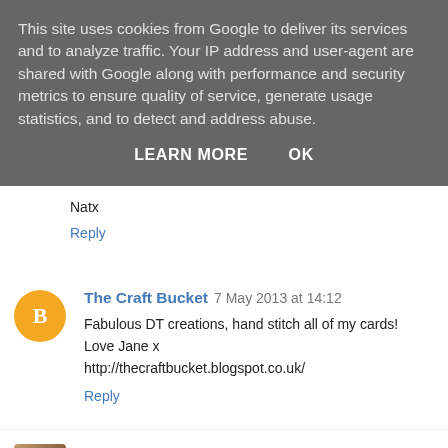This site uses cookies from Google to deliver its services and to analyze traffic. Your IP address and user-agent are shared with Google along with performance and security metrics to ensure quality of service, generate usage statistics, and to detect and address abuse.
LEARN MORE    OK
Natx
Reply
The Craft Bucket  7 May 2013 at 14:12
Fabulous DT creations, hand stitch all of my cards! Love Jane x
http://thecraftbucket.blogspot.co.uk/
Reply
Tanya  11 May 2013 at 21:23
Fantastic DT creations everyone :) Thank you for...